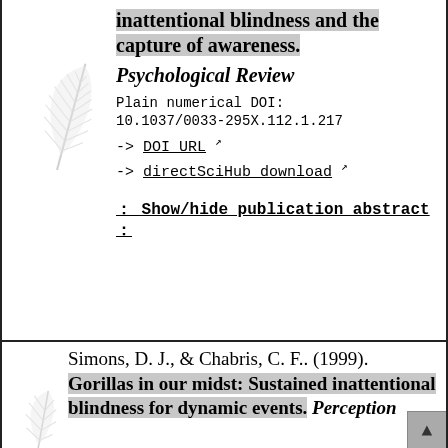inattentional blindness and the capture of awareness. Psychological Review Plain numerical DOI: 10.1037/0033-295X.112.1.217 -> DOI URL -> directSciHub download : Show/hide publication abstract :
[Figure (illustration): Feather illustration, light gray, decorative]
Simons, D. J., & Chabris, C. F.. (1999). Gorillas in our midst: Sustained inattentional blindness for dynamic events. Perception
[Figure (illustration): Feather illustration, light gray, decorative, partially visible at bottom]